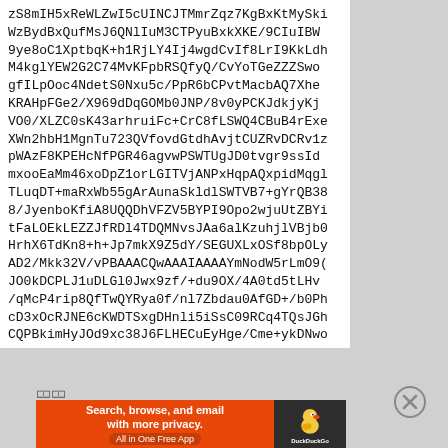zS8mIH5xReWLZwI5cUINCJTMmrZqz7KgBxKtMySki
WzBydBxQufMsJ6QNlIuM3CTPyuBxkXKE/9CIuIBW
9ye8oC1XptbqK+h1RjLY4Ij4wgdCvIf8LrI9KkLdh
M4kglYEW2G2C74MvKFpbRSQfyQ/CvYoTGeZZZSwo
gfILpOoc4NdetS0Nxu5c/PpR6bCPvtMacbAQ7Xhe
KRAHpFGe2/X969dDqGOMb0JNP/8v0yPCKJdkjyKj
VO0/XLZC0sK43arhruiFc+CrC8fLSWQ4CBuB4rExe
XWn2hbH1MgnTu723QVfovdGtdhAvjtCUZRvDCRv1z
pWAzF8KPEHcNfPGR46agvwPSWTUgJD0tvgr9ssId
mxooEaMm46xoDpZ1orLGITVjANPxHqpAQxpidMqgl
TLuqDT+maRxWb55gArAunaSkldlSWTVB7+gYrQB38
8/JyenboKfiA8UQQDhVFZV5BYPI9Opo2wjuUtZBYi
tFaLOEkLEZZJfRDl4TDQMNvsJAa6alKzuhjlVBjb0
HrhX6TdKn8+h+Jp7mkX9Z5dY/SEGUXLxOSf8bpOLy
AD2/Mkk32V/vPBAAACQwAAAIAAAAYmNodW5rLmO9(
JO0kDCPLJ1uDLGl0Jwx9zf/+du9OX/4A0td5tLHv
/qMcP4rip8QfTwQYRya0f/nl7Zbdau0AfGD+/b0Ph
cD3xOcRJNE6cKWDTSxgDHnli5iSsC09RCq4TQsJGh
CQPBkimHyJOd9xc38J6FLHECuEyHge/Cme+ykDNwo
[Figure (screenshot): DuckDuckGo advertisement banner: orange background with text 'Search, browse, and email with more privacy. All in One Free App' and DuckDuckGo duck logo on dark background]